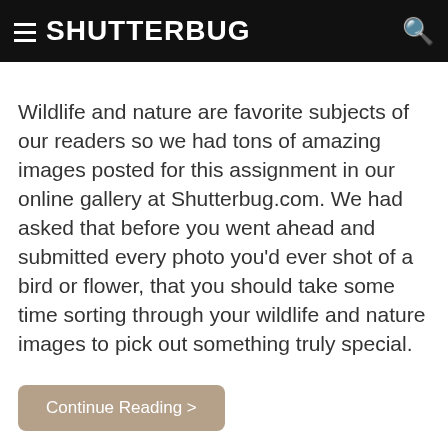SHUTTERBUG
Wildlife and nature are favorite subjects of our readers so we had tons of amazing images posted for this assignment in our online gallery at Shutterbug.com. We had asked that before you went ahead and submitted every photo you'd ever shot of a bird or flower, that you should take some time sorting through your wildlife and nature images to pick out something truly special.
Continue Reading >